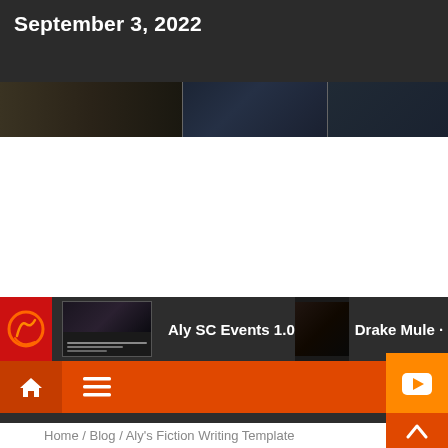September 3, 2022
[Figure (photo): Horizontal image strip showing three dark sci-fi/cinematic scenes side by side]
[Figure (screenshot): Website navigation bar with red/dark logo area showing a circular loading icon, thumbnail image labeled 'Aly SC Events 1.0', and partial text 'Drake Mule']
[Figure (screenshot): Orange navigation toolbar with home icon, hamburger menu, search icon, and YouTube play button]
Home / Blog / Aly's Fiction Writing Template